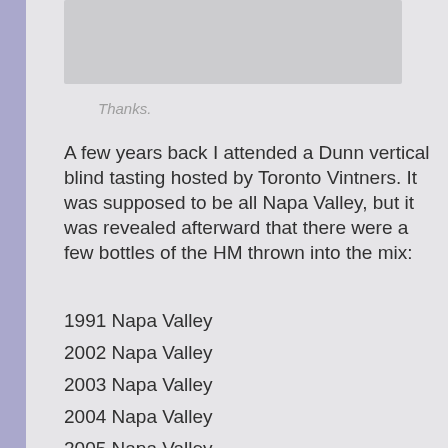[Figure (screenshot): Partially visible quoted/reply box at top of page, cut off]
Thanks.
A few years back I attended a Dunn vertical blind tasting hosted by Toronto Vintners. It was supposed to be all Napa Valley, but it was revealed afterward that there were a few bottles of the HM thrown into the mix:
1991 Napa Valley
2002 Napa Valley
2003 Napa Valley
2004 Napa Valley
2005 Napa Valley
2006 Howell Mountain
2007 Howell Mountain